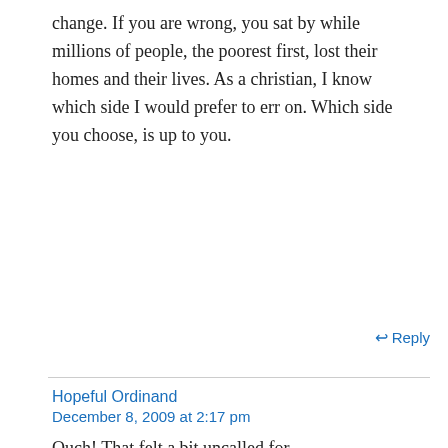change. If you are wrong, you sat by while millions of people, the poorest first, lost their homes and their lives. As a christian, I know which side I would prefer to err on. Which side you choose, is up to you.
↩ Reply
Hopeful Ordinand
December 8, 2009 at 2:17 pm
Ouch! That felt a bit uncalled for.
I'm not quite sure where I said anything about sitting about while 'millions of people… lost their homes and lives.'
I'd assumed that this was a discussion about the